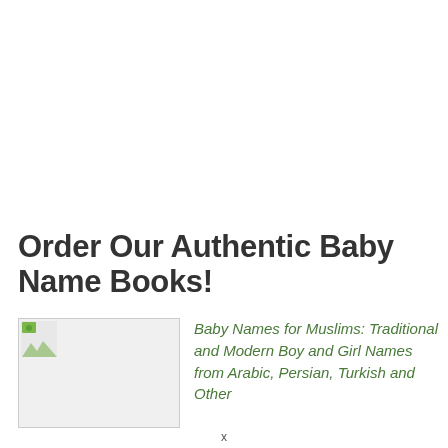Order Our Authentic Baby Name Books!
[Figure (photo): Book cover image placeholder with broken image icon]
Baby Names for Muslims: Traditional and Modern Boy and Girl Names from Arabic, Persian, Turkish and Other
x